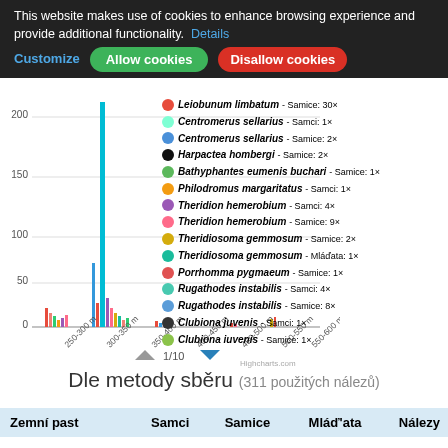This website makes use of cookies to enhance browsing experience and provide additional functionality. Details  Customize  Allow cookies  Disallow cookies
[Figure (bar-chart): Grouped bar chart with multiple colored series representing different spider species at elevation ranges 250-300m to 550-600m. Y-axis goes from 0 to ~220. A tall cyan spike near 300-350m dominates.]
Leiobunum limbatum - Samice: 30×
Centromerus sellarius - Samci: 1×
Centromerus sellarius - Samice: 2×
Harpactea hombergi - Samice: 2×
Bathyphantes eumenis buchari - Samice: 1×
Philodromus margaritatus - Samci: 1×
Theridion hemerobium - Samci: 4×
Theridion hemerobium - Samice: 9×
Theridiosoma gemmosum - Samice: 2×
Theridiosoma gemmosum - Mláďata: 1×
Porrhomma pygmaeum - Samice: 1×
Rugathodes instabilis - Samci: 4×
Rugathodes instabilis - Samice: 8×
Clubiona juvenis - Samci: 1×
Clubiona iuvenis - Samice: 1×
1/10
Dle metody sběru (311 použitých nálezů)
| Zemní past | Samci | Samice | Mláď'ata | Nálezy |
| --- | --- | --- | --- | --- |